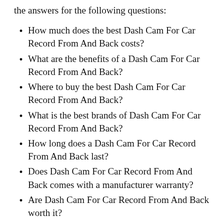the answers for the following questions:
How much does the best Dash Cam For Car Record From And Back costs?
What are the benefits of a Dash Cam For Car Record From And Back?
Where to buy the best Dash Cam For Car Record From And Back?
What is the best brands of Dash Cam For Car Record From And Back?
How long does a Dash Cam For Car Record From And Back last?
Does Dash Cam For Car Record From And Back comes with a manufacturer warranty?
Are Dash Cam For Car Record From And Back worth it?
Final Words